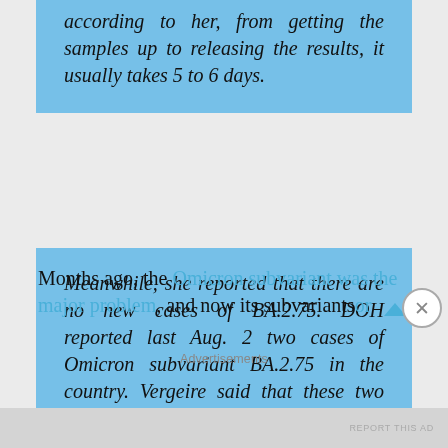according to her, from getting the samples up to releasing the results, it usually takes 5 to 6 days.
Meanwhile, she reported that there are no new cases of BA.2.75. DOH reported last Aug. 2 two cases of Omicron subvariant BA.2.75 in the country. Vergeire said that these two cases were from Western Visayas.
Months ago, the Omicron subvariant was the major problem, and now its subvariants or
Advertisements